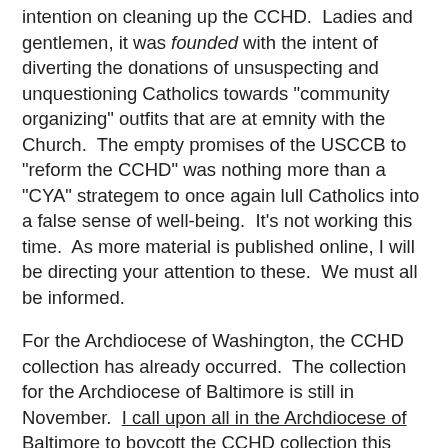intention on cleaning up the CCHD.  Ladies and gentlemen, it was founded with the intent of diverting the donations of unsuspecting and unquestioning Catholics towards "community organizing" outfits that are at emnity with the Church.  The empty promises of the USCCB to "reform the CCHD" was nothing more than a "CYA" strategem to once again lull Catholics into a false sense of well-being.  It's not working this time.  As more material is published online, I will be directing your attention to these.  We must all be informed.
For the Archdiocese of Washington, the CCHD collection has already occurred.  The collection for the Archdiocese of Baltimore is still in November.  I call upon all in the Archdiocese of Baltimore to boycott the CCHD collection this November.  Please redirect your donations to a truly Catholic and/or pro-life charity that will utilize your donations to the real benefit of people and the Church.
I now repost below an hour-long Vortex presentation on the CCHD, including its shady origins.  It's well worth the time spent in watching it.  Click here if you cannot see embedded